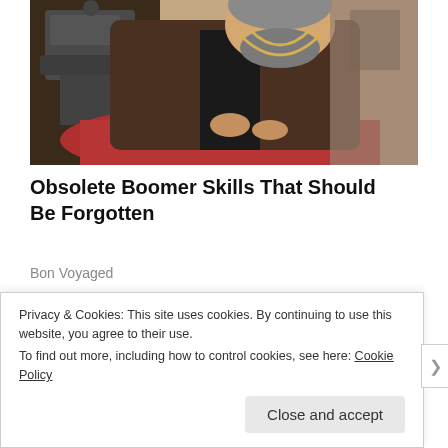[Figure (photo): A bearded older man wearing a brown jacket and a measuring tape around his neck, working at what appears to be a sewing machine with red fabric, in a workshop setting.]
Obsolete Boomer Skills That Should Be Forgotten
Bon Voyaged
SHARE THIS:
Twitter   Facebook
Privacy & Cookies: This site uses cookies. By continuing to use this website, you agree to their use.
To find out more, including how to control cookies, see here: Cookie Policy
Close and accept